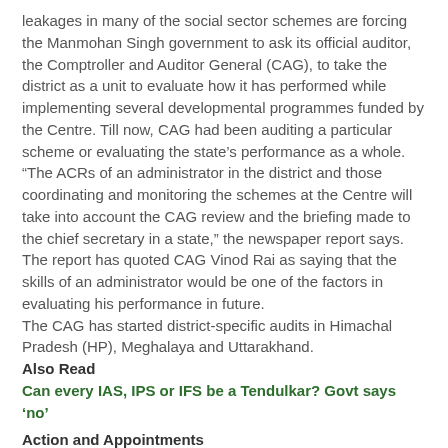leakages in many of the social sector schemes are forcing the Manmohan Singh government to ask its official auditor, the Comptroller and Auditor General (CAG), to take the district as a unit to evaluate how it has performed while implementing several developmental programmes funded by the Centre. Till now, CAG had been auditing a particular scheme or evaluating the state's performance as a whole. "The ACRs of an administrator in the district and those coordinating and monitoring the schemes at the Centre will take into account the CAG review and the briefing made to the chief secretary in a state," the newspaper report says. The report has quoted CAG Vinod Rai as saying that the skills of an administrator would be one of the factors in evaluating his performance in future. The CAG has started district-specific audits in Himachal Pradesh (HP), Meghalaya and Uttarakhand.
Also Read
Can every IAS, IPS or IFS be a Tendulkar? Govt says 'no'
Action and Appointments
The Appointments Committee of the Cabinet (ACC) has approved the extension of tenure of Dr Pronab Sen as Chief